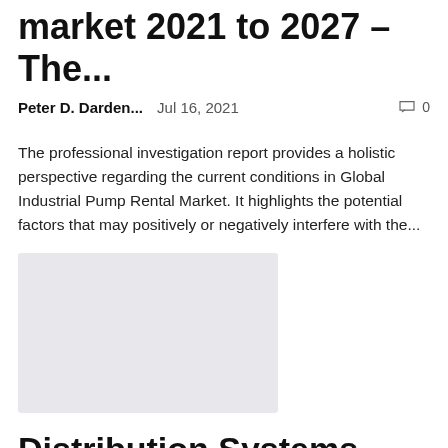market 2021 to 2027 – The...
Peter D. Darden...   Jul 16, 2021   💬 0
The professional investigation report provides a holistic perspective regarding the current conditions in Global Industrial Pump Rental Market. It highlights the potential factors that may positively or negatively interfere with the...
[Figure (other): Placeholder grey image block]
Distribution Systems Market Driving Growth, Dynamic Trends and Efficiency Forecast